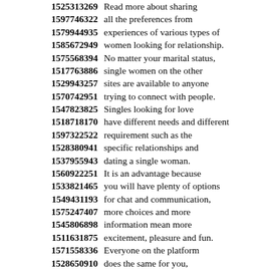1525313269 Read more about sharing
1597746322 all the preferences from
1579944935 experiences of various types of
1585672949 women looking for relationship.
1575568394 No matter your marital status,
1517763886 single women on the other
1529943257 sites are available to anyone
1570742951 trying to connect with people.
1547823825 Singles looking for love
1518718170 have different needs and different
1597322522 requirement such as the
1528380941 specific relationships and
1537955943 dating a single woman.
1560922251 It is an advantage because
1533821465 you will have plenty of options
1549431193 for chat and communication,
1575247407 more choices and more
1545806898 information mean more
1511631875 excitement, pleasure and fun.
1571558336 Everyone on the platform
1528650910 does the same for you,
1585168733 you do not have to feel
1539210308 embarrassed or worried,
1576352165 you may be the odd one out.
1541200819 This is the best site for you,
1516886885 ...